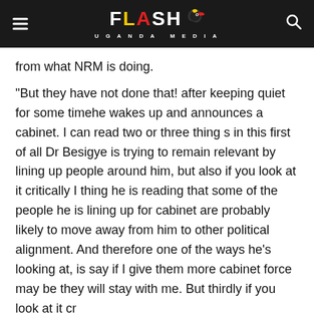FLASH UGANDA MEDIA
from what NRM is doing.
“But they have not done that! after keeping quiet for some timehe wakes up and announces a cabinet. I can read two or three thing s in this first of all Dr Besigye is trying to remain relevant by lining up people around him, but also if you look at it critically I thing he is reading that some of the people he is lining up for cabinet are probably likely to move away from him to other political alignment. And therefore one of the ways he’s looking at, is say if I give them more cabinet force may be they will stay with me. But thirdly if you look at it cr...